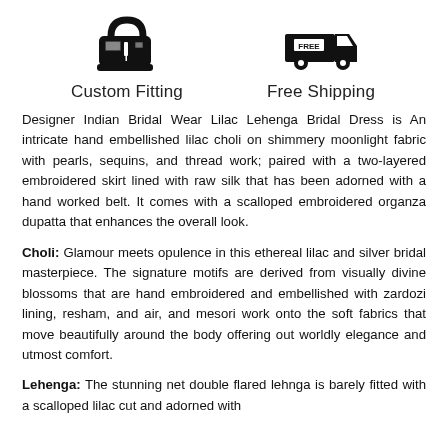[Figure (illustration): Sewing machine icon (black silhouette)]
[Figure (illustration): Delivery truck icon with FREE label (black silhouette)]
Custom Fitting
Free Shipping
Designer Indian Bridal Wear Lilac Lehenga Bridal Dress is An intricate hand embellished lilac choli on shimmery moonlight fabric with pearls, sequins, and thread work; paired with a two-layered embroidered skirt lined with raw silk that has been adorned with a hand worked belt. It comes with a scalloped embroidered organza dupatta that enhances the overall look.
Choli: Glamour meets opulence in this ethereal lilac and silver bridal masterpiece. The signature motifs are derived from visually divine blossoms that are hand embroidered and embellished with zardozi lining, resham, and air, and mesori work onto the soft fabrics that move beautifully around the body offering out worldly elegance and utmost comfort.
Lehenga: The stunning net double flared lehnga is barely fitted with a scalloped lilac cut and adorned with